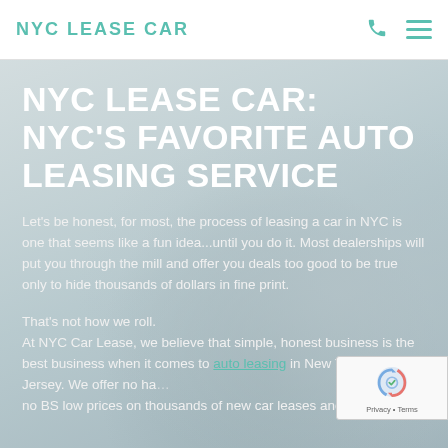NYC LEASE CAR
NYC LEASE CAR: NYC'S FAVORITE AUTO LEASING SERVICE
Let's be honest, for most, the process of leasing a car in NYC is one that seems like a fun idea...until you do it. Most dealerships will put you through the mill and offer you deals too good to be true only to hide thousands of dollars in fine print.
That's not how we roll.
At NYC Car Lease, we believe that simple, honest business is the best business when it comes to auto leasing in New York and New Jersey. We offer no hassle, no BS low prices on thousands of new car leases and our